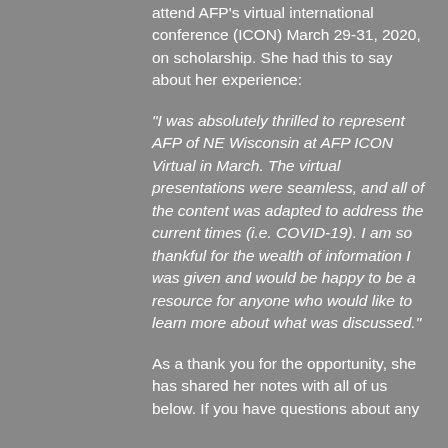attend AFP's virtual international conference (ICON) March 29-31, 2020, on scholarship. She had this to say about her experience:
"I was absolutely thrilled to represent AFP of NE Wisconsin at AFP ICON Virtual in March. The virtual presentations were seamless, and all of the content was adapted to address the current times (i.e. COVID-19). I am so thankful for the wealth of information I was given and would be happy to be a resource for anyone who would like to learn more about what was discussed."
As a thank you for the opportunity, she has shared her notes with all of us below. If you have questions about any